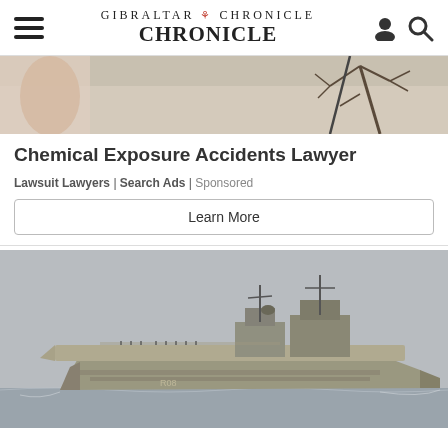GIBRALTAR CHRONICLE
[Figure (photo): Partial view of an outdoor scene with a tree branch and light background, cropped advertisement image]
Chemical Exposure Accidents Lawyer
Lawsuit Lawyers | Search Ads | Sponsored
Learn More
[Figure (photo): A Royal Navy aircraft carrier photographed at sea against a grey sky, side view showing the flight deck, superstructure, and hull]